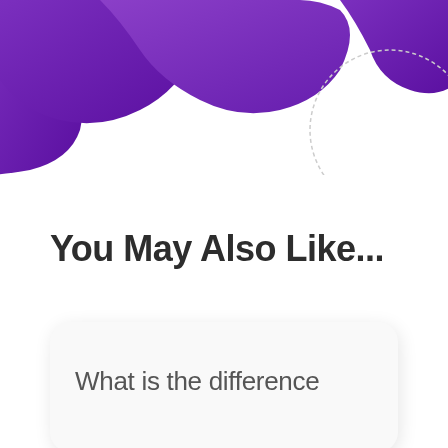[Figure (illustration): Decorative wavy purple blob shapes at the top of the page, with a partial circular arc outline on the right side]
You May Also Like...
What is the difference